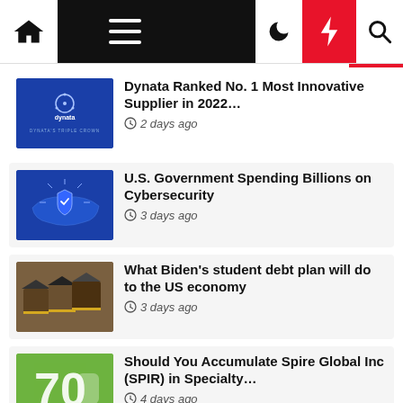Navigation bar with home, menu, moon, lightning, search icons
Dynata Ranked No. 1 Most Innovative Supplier in 2022… 2 days ago
U.S. Government Spending Billions on Cybersecurity 3 days ago
What Biden's student debt plan will do to the US economy 3 days ago
Should You Accumulate Spire Global Inc (SPIR) in Specialty… 4 days ago
CBP Louisville Goes Back to…